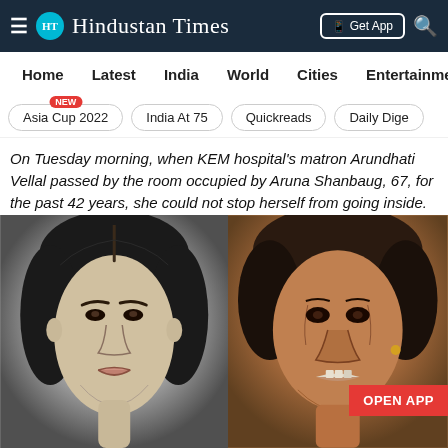≡ HT Hindustan Times | Get App 🔍
Home | Latest | India | World | Cities | Entertainment
Asia Cup 2022 NEW | India At 75 | Quickreads | Daily Dige
On Tuesday morning, when KEM hospital's matron Arundhati Vellal passed by the room occupied by Aruna Shanbaug, 67, for the past 42 years, she could not stop herself from going inside.
[Figure (photo): Two photos of Aruna Shanbaug side by side: left is a black-and-white portrait of a young woman with dark hair, right is a color photo of an elderly woman. An 'OPEN APP' red badge overlays the right photo.]